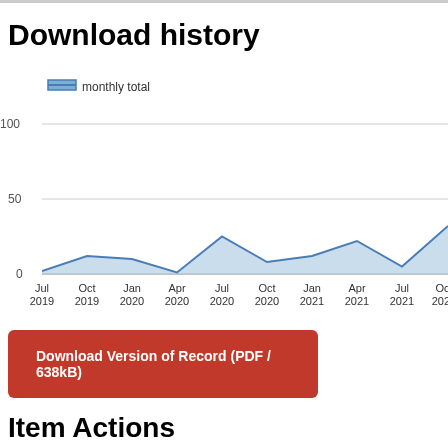Download history
[Figure (area-chart): Download history]
Download Version of Record (PDF / 638kB)
Item Actions